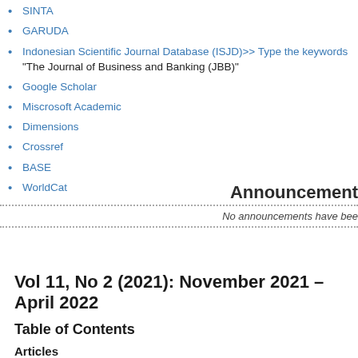SINTA
GARUDA
Indonesian Scientific Journal Database (ISJD)>> Type the keywords "The Journal of Business and Banking (JBB)"
Google Scholar
Miscrosoft Academic
Dimensions
Crossref
BASE
WorldCat
Announcements
No announcements have bee
Vol 11, No 2 (2021): November 2021 - April 2022
Table of Contents
Articles